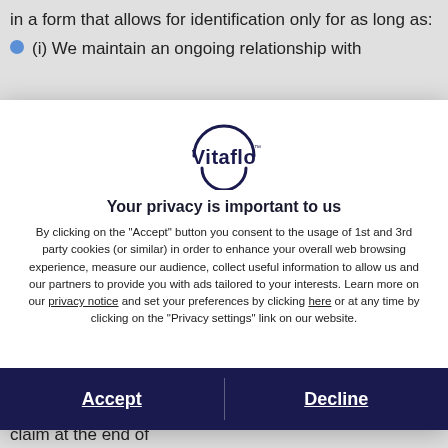in a form that allows for identification only for as long as:
(i) We maintain an ongoing relationship with
[Figure (logo): Vitaflo logo: circle arc with 'Vitaflo' text and trademark symbol]
Your privacy is important to us
By clicking on the "Accept" button you consent to the usage of 1st and 3rd party cookies (or similar) in order to enhance your overall web browsing experience, measure our audience, collect useful information to allow us and our partners to provide you with ads tailored to your interests. Learn more on our privacy notice and set your preferences by clicking here or at any time by clicking on the "Privacy settings" link on our website.
Accept
Decline
of the applicable limitation period (so we are able to identify any personal data of a person who may bring a claim at the end of